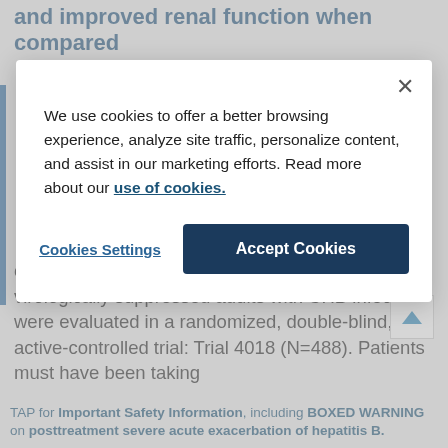and improved renal function when compared
[Figure (screenshot): Cookie consent modal dialog with close button (×), text about cookie usage, a 'Cookies Settings' link button, and an 'Accept Cookies' dark blue button. Overlays the page content with a semi-transparent grey background.]
once daily to VEMLIDY 25 mg once daily in virologically suppressed adults with CHB infection were evaluated in a randomized, double-blind, active-controlled trial: Trial 4018 (N=488). Patients must have been taking
TAP for Important Safety Information, including BOXED WARNING on posttreatment severe acute exacerbation of hepatitis B.